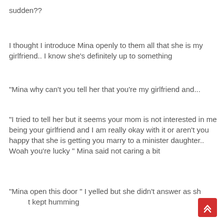sudden??
I thought I introduce Mina openly to them all that she is my girlfriend.. I know she's definitely up to something
"Mina why can't you tell her that you're my girlfriend and...
"I tried to tell her but it seems your mom is not interested in me being your girlfriend and I am really okay with it or aren't you happy that she is getting you marry to a minister daughter.. Woah you're lucky " Mina said not caring a bit
"Mina open this door " I yelled but she didn't answer as sh kept humming